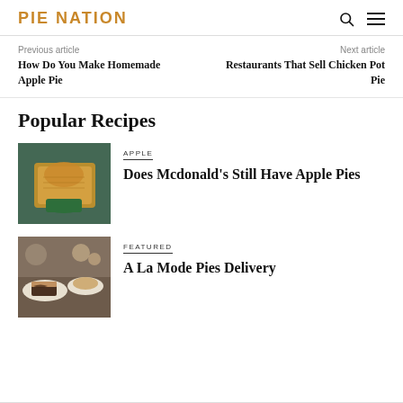PIE NATION
Previous article
How Do You Make Homemade Apple Pie
Next article
Restaurants That Sell Chicken Pot Pie
Popular Recipes
[Figure (photo): A McDonald's apple pie in packaging]
APPLE
Does Mcdonald's Still Have Apple Pies
[Figure (photo): Dessert pies on plates at a restaurant table]
FEATURED
A La Mode Pies Delivery